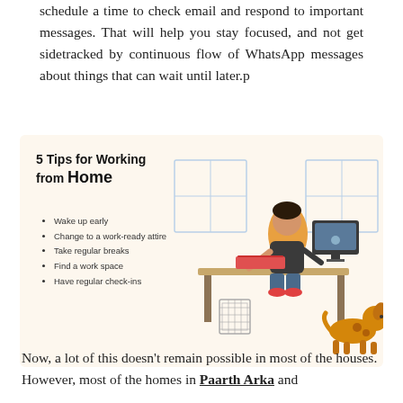schedule a time to check email and respond to important messages. That will help you stay focused, and not get sidetracked by continuous flow of WhatsApp messages about things that can wait until later.p
[Figure (infographic): Infographic titled '5 Tips for Working from Home' on a cream background. Lists five bullet points: Wake up early, Change to a work-ready attire, Take regular breaks, Find a work space, Have regular check-ins. Illustration shows a person sitting at a desk with a laptop and monitor, a trash bin, and a dog walking nearby. Background shows a window grid.]
Now, a lot of this doesn't remain possible in most of the houses. However, most of the homes in Paarth Arka and